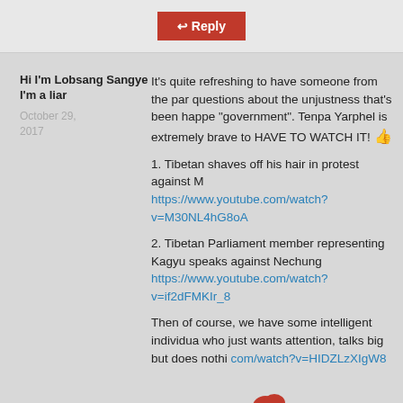[Figure (other): Reply button (red background with reply arrow icon and text 'Reply')]
Hi I'm Lobsang Sangye I'm a liar
October 29, 2017
It's quite refreshing to have someone from the par questions about the unjustness that's been happe "government". Tenpa Yarphel is extremely brave to HAVE TO WATCH IT! 👍
1. Tibetan shaves off his hair in protest against M https://www.youtube.com/watch?v=M30NL4hG8oA
2. Tibetan Parliament member representing Kagyu speaks against Nechung https://www.youtube.com/watch?v=if2dFMKIr_8
Then of course, we have some intelligent individua who just wants attention, talks big but does nothi com/watch?v=HIDZLzXIgW8
[Figure (illustration): Cartoon chicken character with red comb, light blue/white body, small beak, and visible feet at bottom]